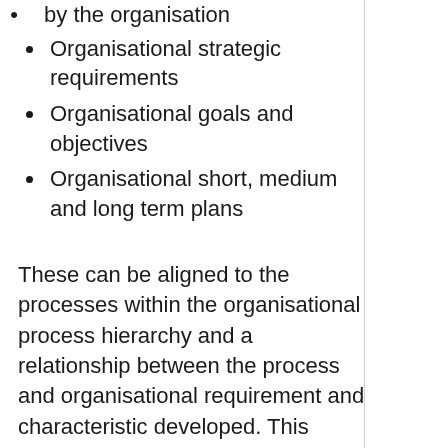by the organisation
Organisational strategic requirements
Organisational goals and objectives
Organisational short, medium and long term plans
These can be aligned to the processes within the organisational process hierarchy and a relationship between the process and organisational requirement and characteristic developed. This reveals processes that have high relationships with the characteristics that should be monitored for improvement opportunities as they